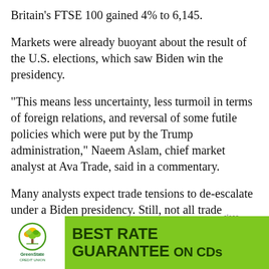Britain’s FTSE 100 gained 4% to 6,145.
Markets were already buoyant about the result of the U.S. elections, which saw Biden win the presidency.
“This means less uncertainty, less turmoil in terms of foreign relations, and reversal of some futile policies which were put by the Trump administration,” Naeem Aslam, chief market analyst at Ava Trade, said in a commentary.
Many analysts expect trade tensions to de-escalate under a Biden presidency. Still, not all trade tensions are expected to vanish even if Biden rolls back some of the tariffs imposed by President Donald Trump on U.S. trading partners, especially China in the past years.
The
[Figure (advertisement): GreenState Credit Union advertisement with green background, white logo area on left showing tree/leaf icon and 'GreenState Credit Union' text, and bold dark green text reading 'BEST RATE GUARANTEE ON CDs']